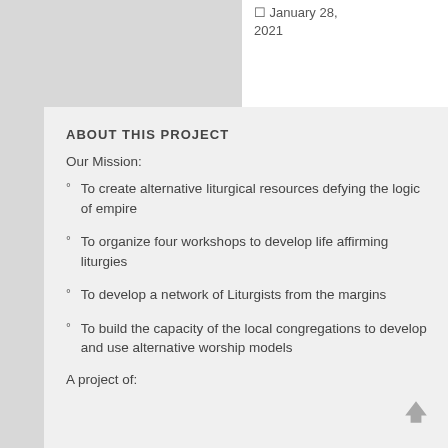January 28, 2021
ABOUT THIS PROJECT
Our Mission:
To create alternative liturgical resources defying the logic of empire
To organize four workshops to develop life affirming liturgies
To develop a network of Liturgists from the margins
To build the capacity of the local congregations to develop and use alternative worship models
A project of: